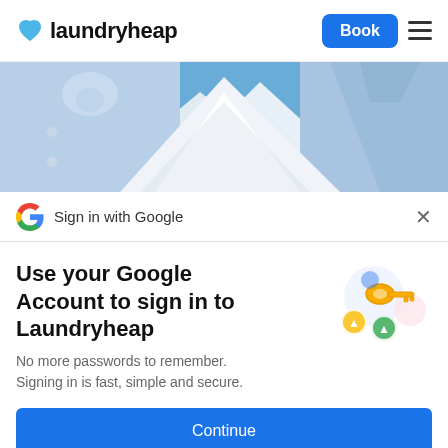laundryheap — Book
[Figure (photo): Close-up photo of neatly folded and stacked blue and white dress shirts on a blue background.]
Sign in with Google
Use your Google Account to sign in to Laundryheap
No more passwords to remember. Signing in is fast, simple and secure.
Continue